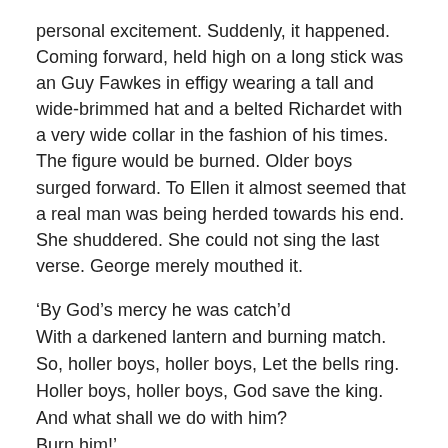personal excitement. Suddenly, it happened. Coming forward, held high on a long stick was an Guy Fawkes in effigy wearing a tall and wide-brimmed hat and a belted Richardet with a very wide collar in the fashion of his times. The figure would be burned. Older boys surged forward. To Ellen it almost seemed that a real man was being herded towards his end. She shuddered. She could not sing the last verse. George merely mouthed it.
‘By God’s mercy he was catch’d
With a darkened lantern and burning match.
So, holler boys, holler boys, Let the bells ring.
Holler boys, holler boys, God save the king.
And what shall we do with him?
Burn him!’